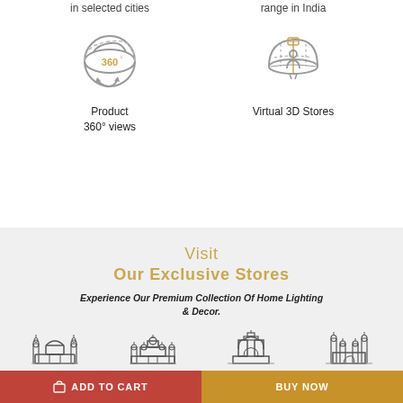in selected cities
range in India
[Figure (illustration): 360 degree view icon - circular arrows]
Product
360° views
[Figure (illustration): Virtual 3D Stores icon - person inside dome]
Virtual 3D Stores
Visit
Our Exclusive Stores
Experience Our Premium Collection Of Home Lighting & Decor.
[Figure (illustration): Four city monument icons: Mumbai Gateway, Mysore Palace, Delhi Gate, Hyderabad Charminar]
ADD TO CART
BUY NOW